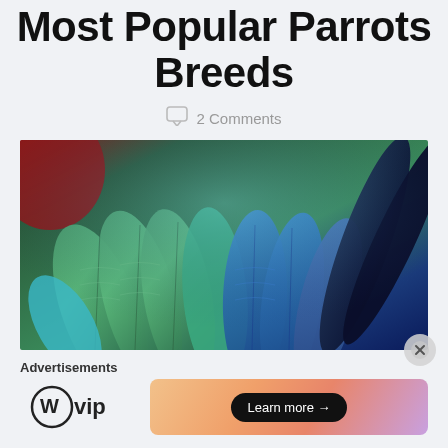Most Popular Parrots Breeds
2 Comments
[Figure (photo): Close-up macro photograph of colorful parrot feathers showing green, blue, and teal iridescent plumage with detailed feather texture and patterns, with red visible at the top left]
Advertisements
[Figure (logo): WordPress VIP logo with circle W icon followed by 'vip' text]
[Figure (infographic): Advertisement banner with orange/pink gradient background and a 'Learn more →' button in black rounded rectangle]